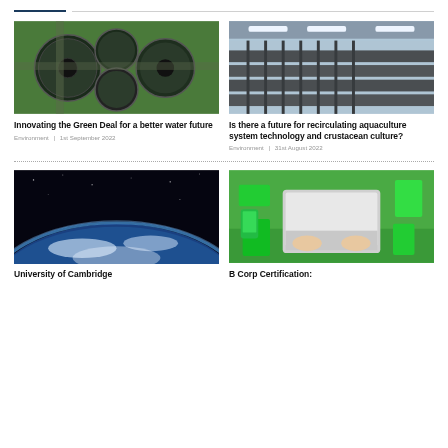[Figure (photo): Aerial view of circular water treatment tanks, green grass surroundings]
Innovating the Green Deal for a better water future
Environment  |  1st September 2022
[Figure (photo): Interior of a recirculating aquaculture facility with long rows of tanks under bright lights]
Is there a future for recirculating aquaculture system technology and crustacean culture?
Environment  |  31st August 2022
[Figure (photo): Earth from space showing atmosphere curve against black space]
University of Cambridge
[Figure (photo): Overhead view of person typing on laptop, surrounded by green office supplies on green grass]
B Corp Certification: